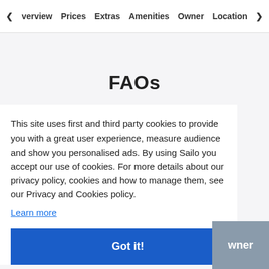Overview  Prices  Extras  Amenities  Owner  Location
FAQs
This site uses first and third party cookies to provide you with a great user experience, measure audience and show you personalised ads. By using Sailo you accept our use of cookies. For more details about our privacy policy, cookies and how to manage them, see our Privacy and Cookies policy.
Learn more
Got it!